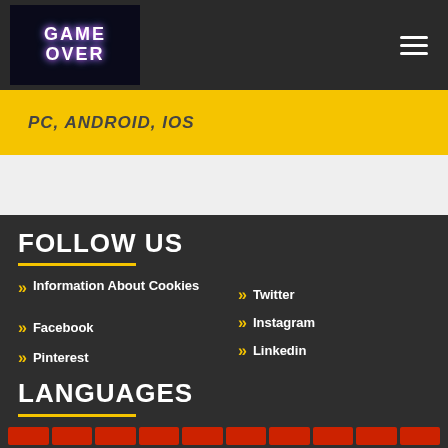GAME OVER
PC, ANDROID, IOS
FOLLOW US
Information About Cookies
Facebook
Pinterest
Twitter
Instagram
Linkedin
LANGUAGES